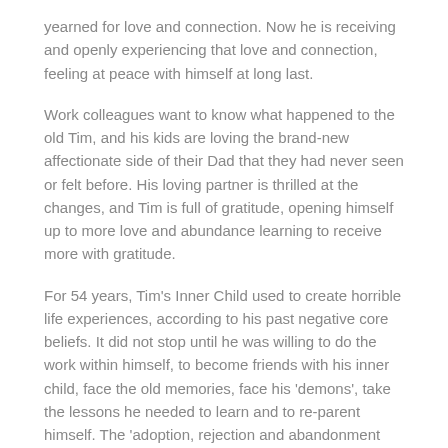yearned for love and connection. Now he is receiving and openly experiencing that love and connection, feeling at peace with himself at long last.
Work colleagues want to know what happened to the old Tim, and his kids are loving the brand-new affectionate side of their Dad that they had never seen or felt before. His loving partner is thrilled at the changes, and Tim is full of gratitude, opening himself up to more love and abundance learning to receive more with gratitude.
For 54 years, Tim's Inner Child used to create horrible life experiences, according to his past negative core beliefs. It did not stop until he was willing to do the work within himself, to become friends with his inner child, face the old memories, face his 'demons', take the lessons he needed to learn and to re-parent himself. The 'adoption, rejection and abandonment story' had kept Tim in